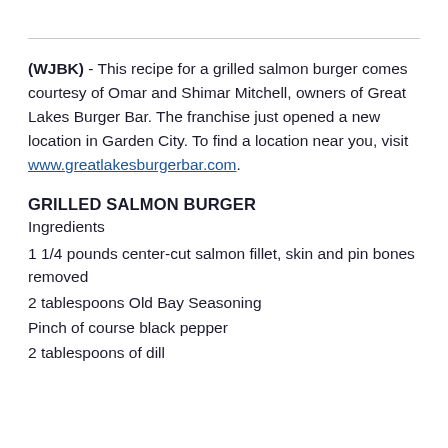(WJBK) - This recipe for a grilled salmon burger comes courtesy of Omar and Shimar Mitchell, owners of Great Lakes Burger Bar. The franchise just opened a new location in Garden City. To find a location near you, visit www.greatlakesburgerbar.com.
GRILLED SALMON BURGER
Ingredients
1 1/4 pounds center-cut salmon fillet, skin and pin bones removed
2 tablespoons Old Bay Seasoning
Pinch of course black pepper
2 tablespoons of dill